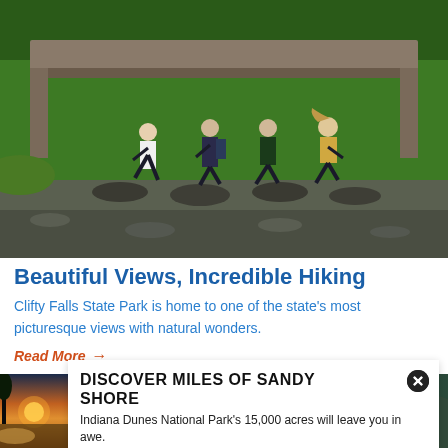[Figure (photo): Four people hiking and stepping on stones across a creek under a concrete bridge, surrounded by lush green forest.]
Beautiful Views, Incredible Hiking
Clifty Falls State Park is home to one of the state's most picturesque views with natural wonders.
Read More →
[Figure (photo): Outdoor nature scene with 'FEATURED' label overlay — partial view of a natural landscape.]
[Figure (photo): Sunset over a sandy beach/shore — Indiana Dunes National Park.]
DISCOVER MILES OF SANDY SHORE
Indiana Dunes National Park's 15,000 acres will leave you in awe.